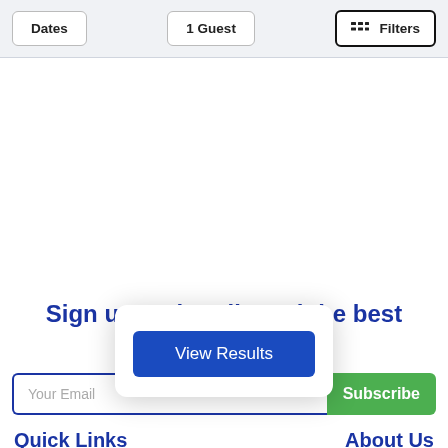Dates | 1 Guest | Filters
Sign up and we'll send the best deals to you
Your Email
Subscribe
View Results
Quick Links
About Us